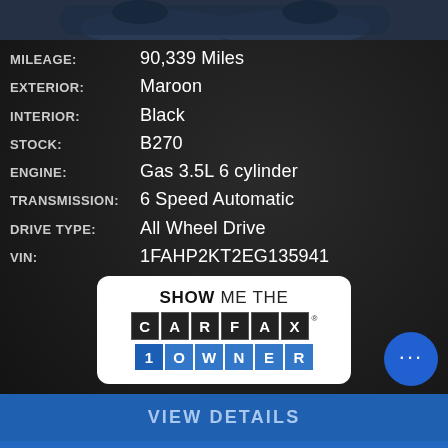[Figure (photo): Partial view of a car (maroon vehicle) at the top of the page]
MILEAGE: 90,339 Miles
EXTERIOR: Maroon
INTERIOR: Black
STOCK: B270
ENGINE: Gas 3.5L 6 cylinder
TRANSMISSION: 6 Speed Automatic
DRIVE TYPE: All Wheel Drive
VIN: 1FAHP2KT2EG135941
[Figure (logo): CARFAX Show Me The CARFAX 1 Owner badge on white rounded rectangle]
VIEW DETAILS
Estimate financing